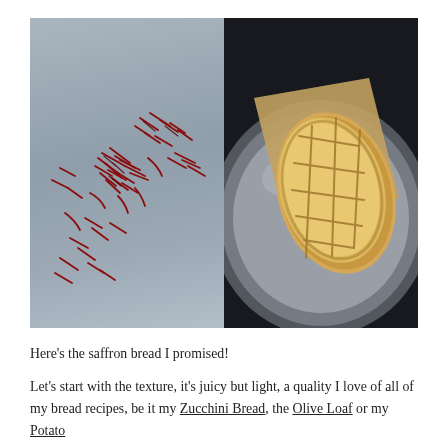[Figure (photo): Side-by-side food photography: left half shows scattered red saffron threads on a light gray-blue surface; right half shows a golden-brown oval bread loaf with scored diamond pattern on top, resting on parchment paper on a round metal plate, dark background.]
Here's the saffron bread I promised!
Let's start with the texture, it's juicy but light, a quality I love of all of my bread recipes, be it my Zucchini Bread, the Olive Loaf or my Potato